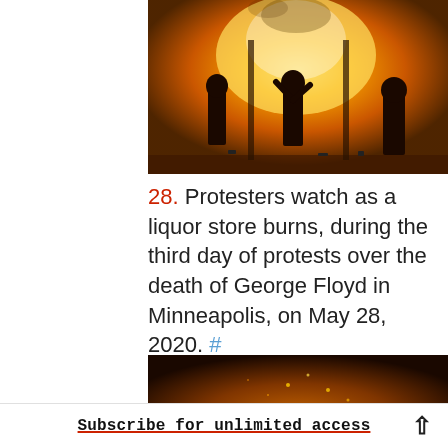[Figure (photo): Silhouettes of protesters watching a liquor store fire at night, orange glow from flames illuminating the scene]
28. Protesters watch as a liquor store burns, during the third day of protests over the death of George Floyd in Minneapolis, on May 28, 2020. #
Jordan Strowder / Anadolu Agency / Getty
[Figure (photo): Dark nighttime fire scene, orange and red flames visible, partial view cropped at bottom of page]
Subscribe for unlimited access